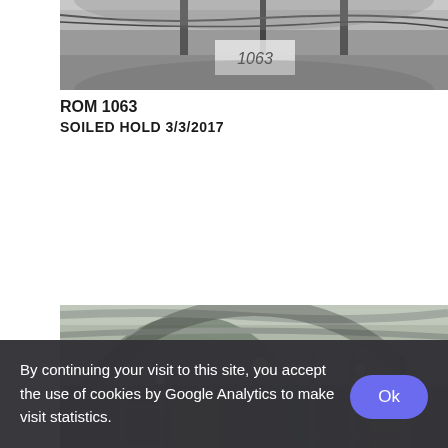[Figure (photo): Panoramic 360-degree photo of an interior room/storage area, partially visible at top of page]
ROM 1063
SOILED HOLD 3/3/2017
[Figure (photo): Panoramic 360-degree photo of an industrial interior space with metal cage partitions, high ceilings with ducts, warehouse-style lighting]
By continuing your visit to this site, you accept the use of cookies by Google Analytics to make visit statistics.